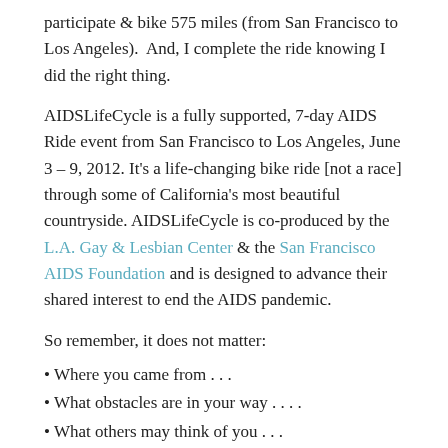participate & bike 575 miles (from San Francisco to Los Angeles).  And, I complete the ride knowing I did the right thing.
AIDSLifeCycle is a fully supported, 7-day AIDS Ride event from San Francisco to Los Angeles, June 3 – 9, 2012. It's a life-changing bike ride [not a race] through some of California's most beautiful countryside. AIDSLifeCycle is co-produced by the L.A. Gay & Lesbian Center & the San Francisco AIDS Foundation and is designed to advance their shared interest to end the AIDS pandemic.
So remember, it does not matter:
• Where you came from . . .
• What obstacles are in your way . . . .
• What others may think of you . . .